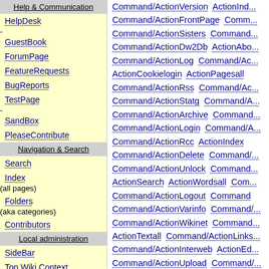Help & Communication
HelpDesk - GuestBook
ForumPage
FeatureRequests
BugReports
TestPage - SandBox
PleaseContribute
Navigation & Search
Search
Index (all pages)
Folders (aka categories)
Contributors
Local administration
SideBar
Top Wiki Context
Local Template
(not applicable)
© GPL
Command/ActionVersion ActionInd... Command/ActionFrontPage Comm... Command/ActionSisters Command... Command/ActionDw2Db ActionAbo... Command/ActionLog Command/Ac... ActionCookielogin ActionPagesall Command/ActionRss Command/Ac... Command/ActionStatg Command/A... Command/ActionArchive Command... Command/ActionLogin Command/A... Command/ActionRcc ActionIndex Command/ActionDelete Command/... Command/ActionUnlock Command... ActionSearch ActionWordsall Com... Command/ActionLogout Command Command/ActionVarinfo Command/... Command/ActionWikinet Command... ActionTextall Command/ActionLinks... Command/ActionInterweb ActionEd... Command/ActionUpload Command/... Command/ActionRcg Command/Ac... Command/ActionEnv Command/Ac... Command/ActionProjects
Adder(3)